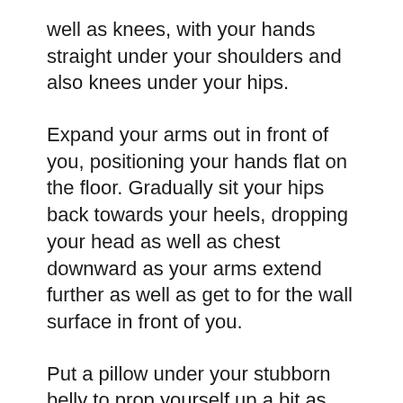well as knees, with your hands straight under your shoulders and also knees under your hips.
Expand your arms out in front of you, positioning your hands flat on the floor. Gradually sit your hips back towards your heels, dropping your head as well as chest downward as your arms extend further as well as get to for the wall surface in front of you.
Put a pillow under your stubborn belly to prop yourself up a bit as well as lessen the stretch of the low-back muscles if this stretch is as well much. Hold this pose for 20 to 30 secs or even longer.